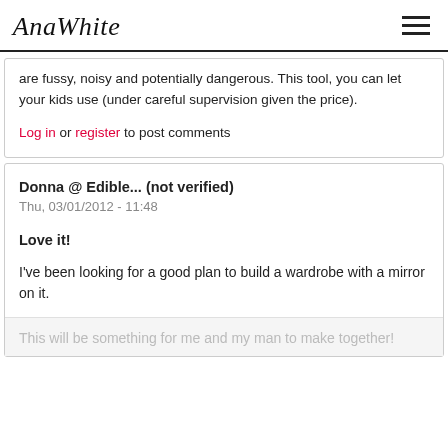AnaWhite
are fussy, noisy and potentially dangerous. This tool, you can let your kids use (under careful supervision given the price).
Log in or register to post comments
Donna @ Edible... (not verified)
Thu, 03/01/2012 - 11:48
Love it!
I've been looking for a good plan to build a wardrobe with a mirror on it.
This will be something for me and my man to make together!